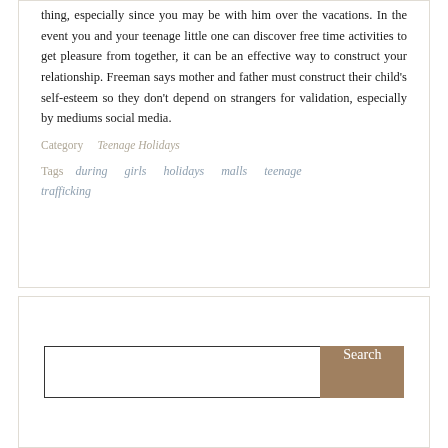thing, especially since you may be with him over the vacations. In the event you and your teenage little one can discover free time activities to get pleasure from together, it can be an effective way to construct your relationship. Freeman says mother and father must construct their child's self-esteem so they don't depend on strangers for validation, especially by mediums social media.
Category   Teenage Holidays
Tags   during   girls   holidays   malls   teenage   trafficking
Search